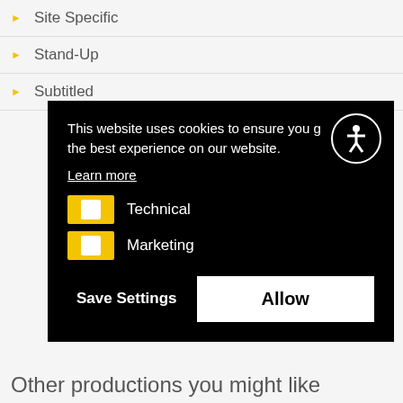Site Specific
Stand-Up
Subtitled
[Figure (screenshot): Cookie consent popup overlay with black background. Text: 'This website uses cookies to ensure you g[et] the best experience on our website.' with 'Learn more' link, Technical and Marketing toggle checkboxes (yellow toggles), and buttons 'Save Settings' and 'Allow'. Accessibility icon (person in circle) in top right corner.]
Other productions you might like